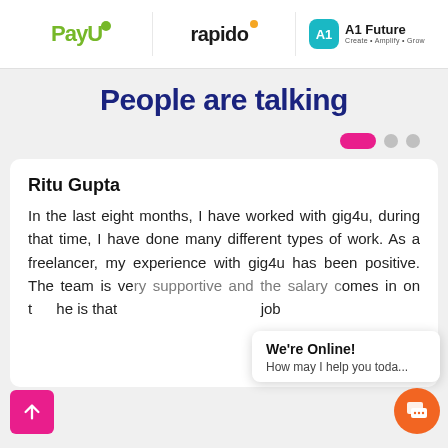[Figure (logo): PayU logo (green text with dot), Rapido logo (dark text with orange dot), AI Future logo (teal badge with text)]
People are talking
[Figure (other): Carousel navigation: one active pink pill dot and two inactive grey circle dots]
Ritu Gupta
In the last eight months, I have worked with gig4u, during that time, I have done many different types of work. As a freelancer, my experience with gig4u has been positive. The team is very supportive and the salary comes in on time. The only downside for me is that the job
[Figure (other): We're Online! chat popup widget with orange chat icon button]
[Figure (other): Scroll-to-top pink button with up arrow icon]